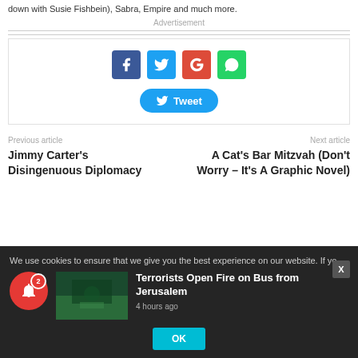down with Susie Fishbein), Sabra, Empire and much more.
Advertisement
[Figure (infographic): Social share buttons: Facebook (blue), Twitter (light blue), Google+ (red), WhatsApp (green), and a Tweet button]
Previous article
Next article
Jimmy Carter's Disingenuous Diplomacy
A Cat's Bar Mitzvah (Don't Worry – It's A Graphic Novel)
We use cookies to ensure that we give you the best experience on our website. If yo
[Figure (photo): Thumbnail image of bus attack news story - dark greenish tones]
Terrorists Open Fire on Bus from Jerusalem
4 hours ago
OK